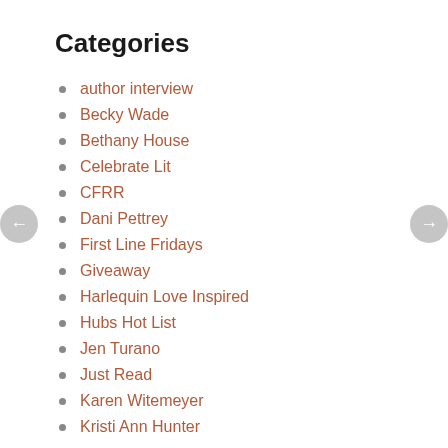Categories
author interview
Becky Wade
Bethany House
Celebrate Lit
CFRR
Dani Pettrey
First Line Fridays
Giveaway
Harlequin Love Inspired
Hubs Hot List
Jen Turano
Just Read
Karen Witemeyer
Kristi Ann Hunter